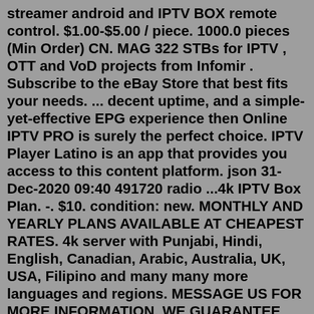streamer android and IPTV BOX remote control. $1.00-$5.00 / piece. 1000.0 pieces (Min Order) CN. MAG 322 STBs for IPTV , OTT and VoD projects from Infomir . Subscribe to the eBay Store that best fits your needs. ... decent uptime, and a simple-yet-effective EPG experience then Online IPTV PRO is surely the perfect choice. IPTV Player Latino is an app that provides you access to this content platform. json 31-Dec-2020 09:40 491720 radio ...4k IPTV Box PIan. -. $10. condition: new. MONTHLY AND YEARLY PLANS AVAILABLE AT CHEAPEST RATES. 4k server with Punjabi, Hindi, English, Canadian, Arabic, Australia, UK, USA, Filipino and many many more languages and regions. MESSAGE US FOR MORE INFORMATION. WE GUARANTEE BEST SERVICE.The set-top box and remote control are presented in the new Micro Fusion design. They will look good in any interior. ... Unipro 2.0 4k UHD Android and IPTV Box $219. ... 0 TV App Unipro Classic App MicroSD Memory Optical